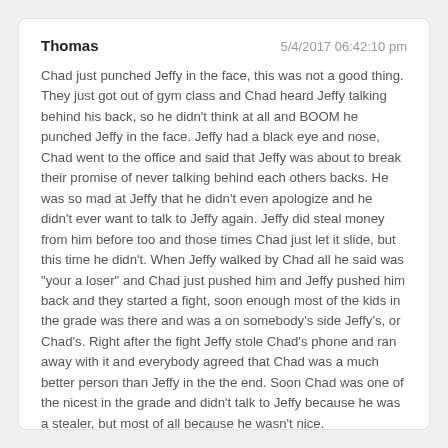Thomas   5/4/2017 06:42:10 pm
Chad just punched Jeffy in the face, this was not a good thing. They just got out of gym class and Chad heard Jeffy talking behind his back, so he didn't think at all and BOOM he punched Jeffy in the face. Jeffy had a black eye and nose, Chad went to the office and said that Jeffy was about to break their promise of never talking behind each others backs. He was so mad at Jeffy that he didn't even apologize and he didn't ever want to talk to Jeffy again. Jeffy did steal money from him before too and those times Chad just let it slide, but this time he didn't. When Jeffy walked by Chad all he said was "your a loser" and Chad just pushed him and Jeffy pushed him back and they started a fight, soon enough most of the kids in the grade was there and was a on somebody's side Jeffy's, or Chad's. Right after the fight Jeffy stole Chad's phone and ran away with it and everybody agreed that Chad was a much better person than Jeffy in the the end. Soon Chad was one of the nicest in the grade and didn't talk to Jeffy because he was a stealer, but most of all because he wasn't nice.